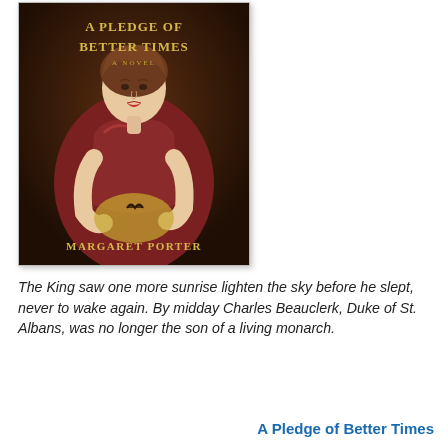[Figure (illustration): Book cover for 'A Pledge of Better Times' by Margaret Porter. Features a classical oil painting style portrait of a young woman in a red and white dress holding what appears to be a small bird or butterfly, against a dark brown background. Title text 'A Pledge of Better Times' in gold serif letters at top, 'A Novel' below it in smaller text, and 'Margaret Porter' at the bottom in gold serif letters.]
The King saw one more sunrise lighten the sky before he slept, never to wake again. By midday Charles Beauclerk, Duke of St. Albans, was no longer the son of a living monarch.
A Pledge of Better Times